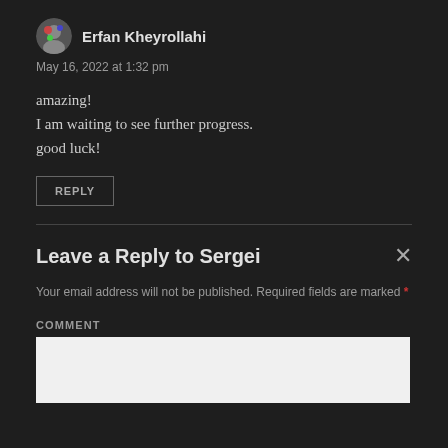[Figure (illustration): User avatar icon — circular avatar with a colorful icon]
Erfan Kheyrollahi
May 16, 2022 at 1:32 pm
amazing!
I am waiting to see further progress.
good luck!
REPLY
Leave a Reply to Sergei
Your email address will not be published. Required fields are marked *
COMMENT